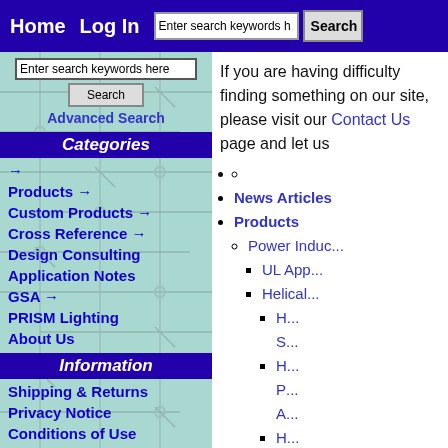Home  Log In  [search bar]  Search
Enter search keywords here  Search  Advanced Search
Categories
→
Products →
Custom Products →
Cross Reference →
Design Consulting
Application Notes
GSA →
PRISM Lighting
About Us
Information
Shipping & Returns
Privacy Notice
Conditions of Use
Contact Us
Site Map
If you are having difficulty finding something on our site, please visit our Contact Us page and let us
(empty bullet) ○
News Articles
Products
Power Indu...
UL App...
Helical...
H... S...
H... P... A...
H... P... L...
H... B...
H...